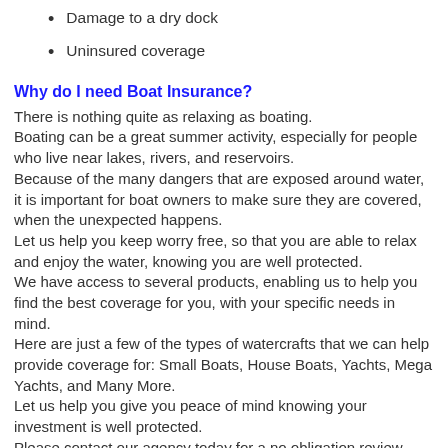Damage to a dry dock
Uninsured coverage
Why do I need Boat Insurance?
There is nothing quite as relaxing as boating. Boating can be a great summer activity, especially for people who live near lakes, rivers, and reservoirs. Because of the many dangers that are exposed around water, it is important for boat owners to make sure they are covered, when the unexpected happens. Let us help you keep worry free, so that you are able to relax and enjoy the water, knowing you are well protected. We have access to several products, enabling us to help you find the best coverage for you, with your specific needs in mind. Here are just a few of the types of watercrafts that we can help provide coverage for: Small Boats, House Boats, Yachts, Mega Yachts, and Many More. Let us help you give you peace of mind knowing your investment is well protected. Please contact our agency today for a no obligation review